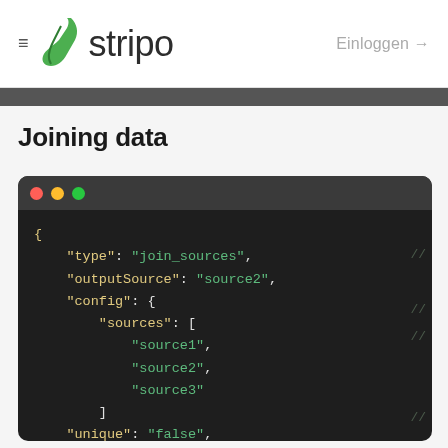≡ stripo  Einloggen →
Joining data
[Figure (screenshot): Dark-themed code editor window showing JSON code for a join_sources operation with outputSource source2, config containing sources array with source1, source2, source3, and unique false.]